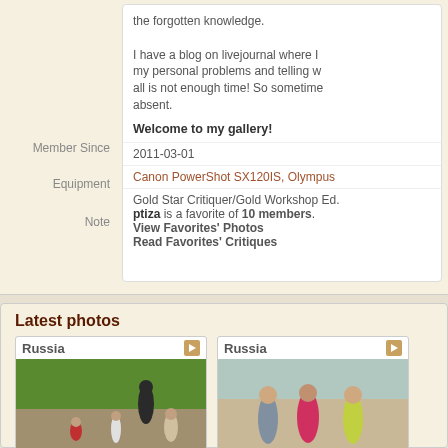the forgotten knowledge. I have a blog on livejournal where I my personal problems and telling w all is not enough time! So sometime absent.
Welcome to my gallery!
Member Since	2011-03-01
Equipment	Canon PowerShot SX120IS, Olympus
Note	Gold Star Critiquer/Gold Workshop Ed. ptiza is a favorite of 10 members. View Favorites' Photos Read Favorites' Critiques
Latest photos
[Figure (photo): Photo card labeled Russia showing people in a park, man standing near children]
[Figure (photo): Photo card labeled Russia showing three young women walking]